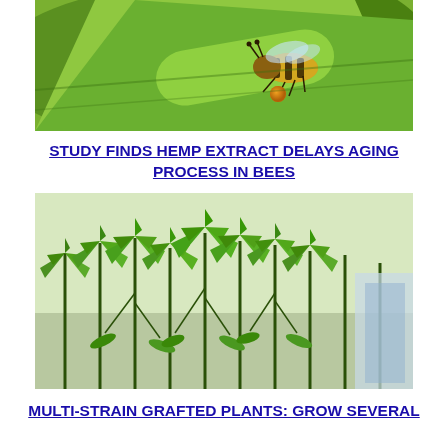[Figure (photo): Close-up photo of a honeybee clinging to a green leaf, carrying an orange pollen ball on its hind leg]
STUDY FINDS HEMP EXTRACT DELAYS AGING PROCESS IN BEES
[Figure (photo): Photo of multiple hemp/cannabis plants with characteristic fan leaves, planted closely together, greenish-white background]
MULTI-STRAIN GRAFTED PLANTS: GROW SEVERAL